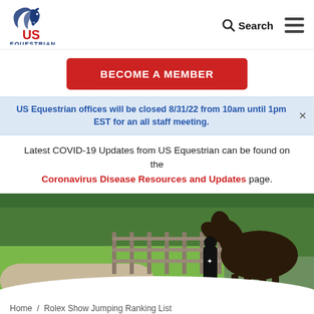[Figure (logo): US Equestrian logo with horse head graphic, blue and red text]
Search
BECOME A MEMBER
US Equestrian offices will be closed 8/31/22 from 10am until 1pm EST for an all staff meeting.
Latest COVID-19 Updates from US Equestrian can be found on the Coronavirus Disease Resources and Updates page.
[Figure (photo): Person in black outfit standing next to a dark horse along a wooden fence with green trees in background]
Home / Rolex Show Jumping Ranking List
/ COLUMBUS INTERNATIONAL GRAND PRIX